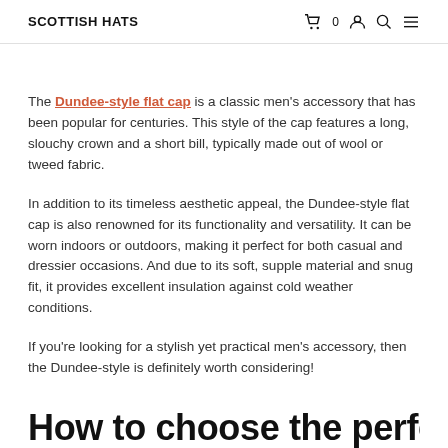SCOTTISH HATS
The Dundee-style flat cap is a classic men’s accessory that has been popular for centuries. This style of the cap features a long, slouchy crown and a short bill, typically made out of wool or tweed fabric.
In addition to its timeless aesthetic appeal, the Dundee-style flat cap is also renowned for its functionality and versatility. It can be worn indoors or outdoors, making it perfect for both casual and dressier occasions. And due to its soft, supple material and snug fit, it provides excellent insulation against cold weather conditions.
If you’re looking for a stylish yet practical men’s accessory, then the Dundee-style is definitely worth considering!
How to choose the perfect...